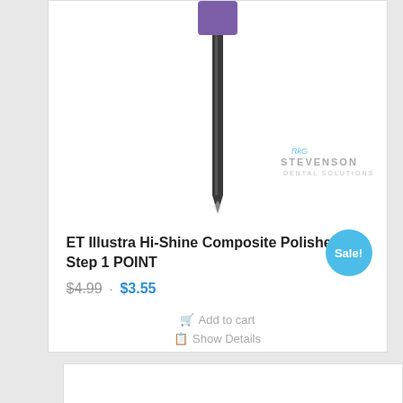[Figure (photo): A dental composite polisher tool with a purple cylindrical tip and a long dark metallic shank, shown vertically. Stevenson Dental Solutions logo watermark visible in lower right of image.]
ET Illustra Hi-Shine Composite Polisher, Step 1 POINT
$4.99 · $3.55
Add to cart
Show Details